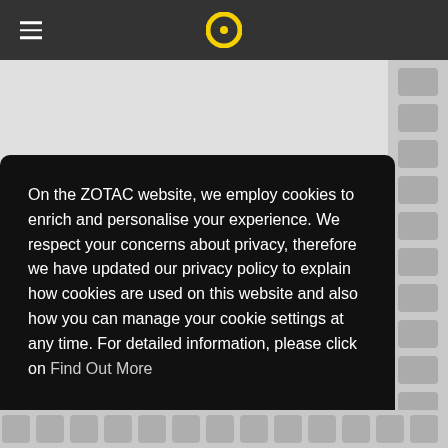ZOTAC website navigation bar with hamburger menu and logo
[Figure (screenshot): Gray background page content area with product image strip on right side]
On the ZOTAC website, we employ cookies to enrich and personalise your experience. We respect your concerns about privacy, therefore we have updated our privacy policy to explain how cookies are used on this website and also how you can manage your cookie settings at any time. For detailed information, please click on Find Out More
Decline
Agree